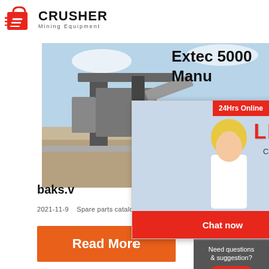[Figure (logo): Crusher Mining Equipment logo with red shopping bag/crusher icon and bold CRUSHER text with Mining Equipment subtitle]
[Figure (photo): Mining/crushing equipment at a construction site with machinery, blue sky background]
Extec 5000 Manu
[Figure (screenshot): Live chat popup overlay showing three workers in yellow hard hats, LIVE CHAT text in red, Click for a Free Consultation, Chat now and Chat later buttons, close X button]
[Figure (photo): Customer service representative woman with headset, 24Hrs Online badge, Need questions & suggestion panel with Chat Now button, Enquiry section, limingjlmofen@sina.com]
baks.v
2021-11-9   Spare parts catalog and manual fo
[Figure (other): Orange Read More button]